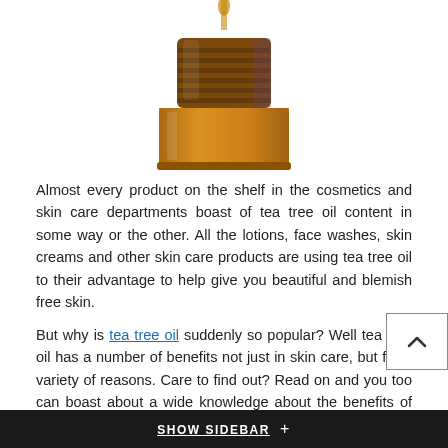[Figure (photo): Amber glass bottle with oil being poured into it from above, on white background]
Almost every product on the shelf in the cosmetics and skin care departments boast of tea tree oil content in some way or the other. All the lotions, face washes, skin creams and other skin care products are using tea tree oil to their advantage to help give you beautiful and blemish free skin.
But why is tea tree oil suddenly so popular? Well tea tree oil has a number of benefits not just in skin care, but for a variety of reasons. Care to find out? Read on and you too can boast about a wide knowledge about the benefits of tea tree oil soon enough.
1. Heals The Skin
Tea tree oil is very effective in treating scars, blemishes, acne and sudden outbreaks on the skin. Just a few drops of this wondrous oil can make your skin healthy and beautiful naturally.
SHOW SIDEBAR +